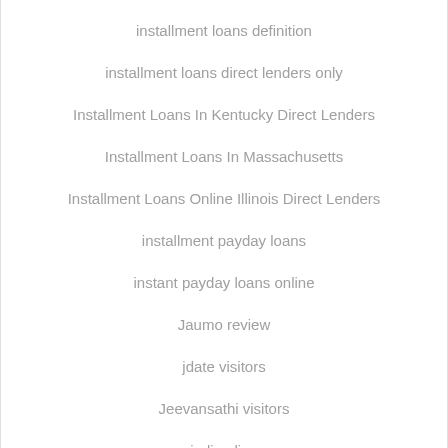installment loans definition
installment loans direct lenders only
Installment Loans In Kentucky Direct Lenders
Installment Loans In Massachusetts
Installment Loans Online Illinois Direct Lenders
installment payday loans
instant payday loans online
Jaumo review
jdate visitors
Jeevansathi visitors
judi online